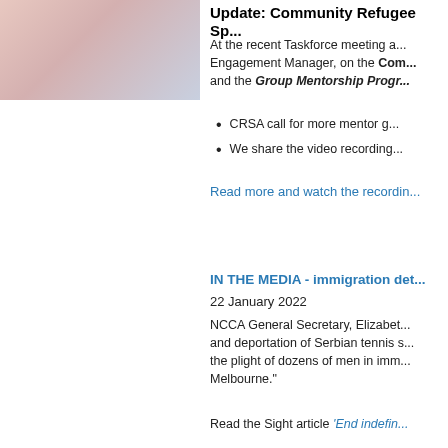[Figure (photo): Photograph of a building or wall with pink/blue tones, partially visible on the left side of the page]
Update: Community Refugee Sp...
At the recent Taskforce meeting a... Engagement Manager, on the Community [Refugee Sponsorship] and the Group Mentorship Progr...
CRSA call for more mentor g...
We share the video recording...
Read more and watch the recordin...
IN THE MEDIA - immigration det...
22 January 2022
NCCA General Secretary, Elizabet... and deportation of Serbian tennis s... the plight of dozens of men in imm... Melbourne."
Read the Sight article ‘End indefin...